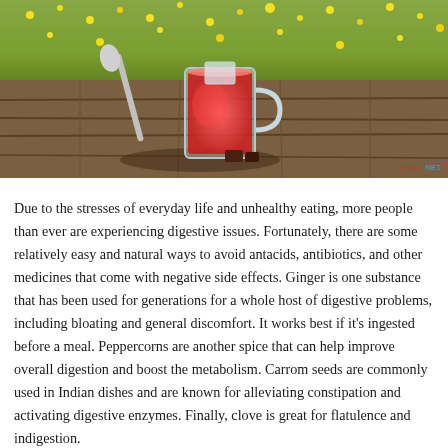[Figure (photo): A glass mug of red herbal tea with a metal spoon beside it, sitting on a wooden table with yellow wildflowers in the background. A small watermark reads 'FITANET' in the bottom right corner.]
Due to the stresses of everyday life and unhealthy eating, more people than ever are experiencing digestive issues. Fortunately, there are some relatively easy and natural ways to avoid antacids, antibiotics, and other medicines that come with negative side effects. Ginger is one substance that has been used for generations for a whole host of digestive problems, including bloating and general discomfort. It works best if it's ingested before a meal. Peppercorns are another spice that can help improve overall digestion and boost the metabolism. Carrom seeds are commonly used in Indian dishes and are known for alleviating constipation and activating digestive enzymes. Finally, clove is great for flatulence and indigestion.